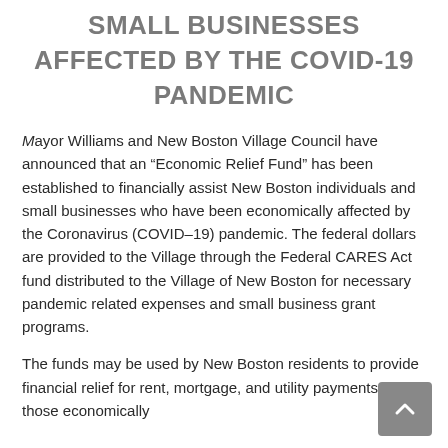SMALL BUSINESSES AFFECTED BY THE COVID-19 PANDEMIC
Mayor Williams and New Boston Village Council have announced that an “Economic Relief Fund” has been established to financially assist New Boston individuals and small businesses who have been economically affected by the Coronavirus (COVID–19) pandemic. The federal dollars are provided to the Village through the Federal CARES Act fund distributed to the Village of New Boston for necessary pandemic related expenses and small business grant programs.
The funds may be used by New Boston residents to provide financial relief for rent, mortgage, and utility payments for those economically